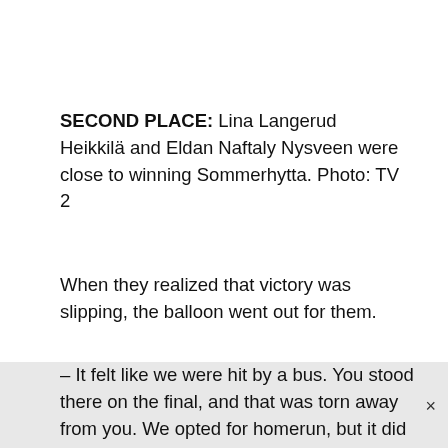SECOND PLACE: Lina Langerud Heikkilä and Eldan Naftaly Nysveen were close to winning Sommerhytta. Photo: TV 2
When they realized that victory was slipping, the balloon went out for them.
– It felt like we were hit by a bus. You stood there on the final, and that was torn away from you. We opted for homerun, but it did not happen, the couple says.